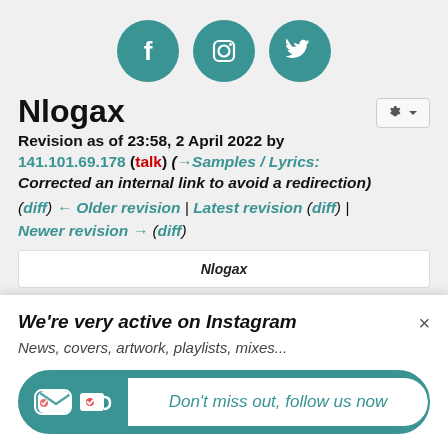[Figure (illustration): Three teal circular social media icons: Facebook (f), Instagram (camera), Twitter (bird)]
Nlogax
Revision as of 23:58, 2 April 2022 by 141.101.69.178 (talk) (→Samples / Lyrics: Corrected an internal link to avoid a redirection)
(diff) ← Older revision | Latest revision (diff) | Newer revision → (diff)
Nlogax
We're very active on Instagram
News, covers, artwork, playlists, mixes...
Don't miss out, follow us now